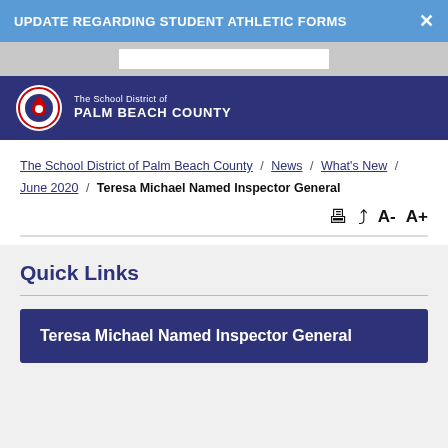UPDATE REGARDING STUDENT ATHLETIC FORMS
[Figure (logo): The School District of Palm Beach County logo with circular seal]
The School District of Palm Beach County / News / What's New / June 2020 / Teresa Michael Named Inspector General
Quick Links
Teresa Michael Named Inspector General